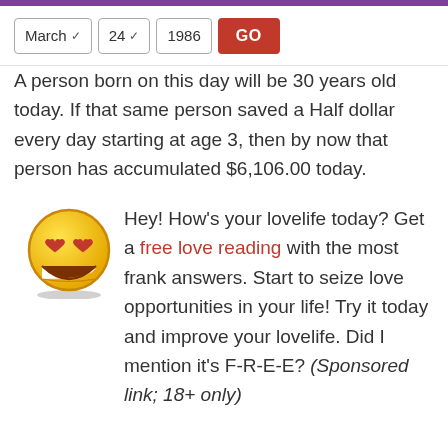March 24 1986 GO
A person born on this day will be 30 years old today. If that same person saved a Half dollar every day starting at age 3, then by now that person has accumulated $6,106.00 today.
[Figure (illustration): Yellow smiley face emoji with heart eyes and wide grin]
Hey! How’s your lovelife today? Get a free love reading with the most frank answers. Start to seize love opportunities in your life! Try it today and improve your lovelife. Did I mention it’s F-R-E-E? (Sponsored link; 18+ only)